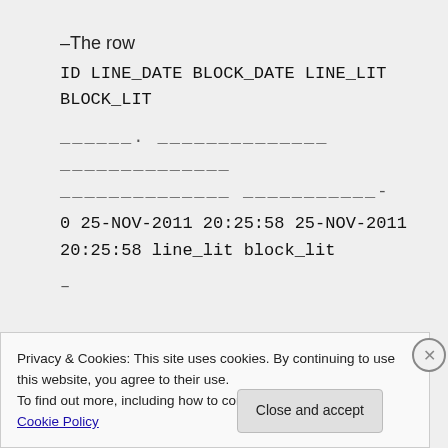–The row
ID LINE_DATE BLOCK_DATE LINE_LIT BLOCK_LIT
______. ______________ ______________
______________ ___________-
0 25-NOV-2011 20:25:58 25-NOV-2011 20:25:58 line_lit block_lit
--
--
Privacy & Cookies: This site uses cookies. By continuing to use this website, you agree to their use.
To find out more, including how to control cookies, see here: Cookie Policy
Close and accept